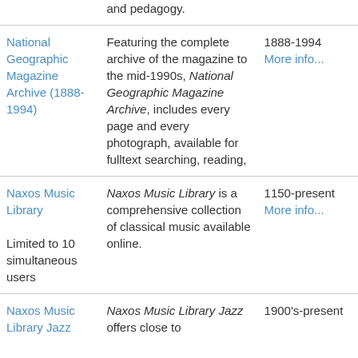| Resource | Description | Date Range |
| --- | --- | --- |
| and pedagogy. |  |  |
| National Geographic Magazine Archive (1888-1994) | Featuring the complete archive of the magazine to the mid-1990s, National Geographic Magazine Archive, includes every page and every photograph, available for fulltext searching, reading, | 1888-1994
More info... |
| Naxos Music Library

Limited to 10 simultaneous users | Naxos Music Library is a comprehensive collection of classical music available online. | 1150-present
More info... |
| Naxos Music Library Jazz | Naxos Music Library Jazz offers close to | 1900's-present |